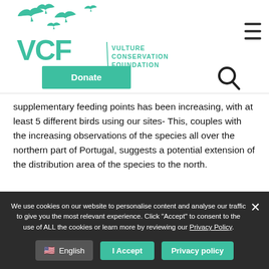[Figure (logo): VCF Vulture Conservation Foundation logo with teal/green birds silhouettes flying above the VCF text letters and the full name]
[Figure (other): Donate button (teal green rectangle) and search icon (magnifying glass)]
supplementary feeding points has been increasing, with at least 5 different birds using our sites- This, couples with the increasing observations of the species all over the northern part of Portugal, suggests a potential extension of the distribution area of the species to the north.
We use cookies on our website to personalise content and analyse our traffic to give you the most relevant experience. Click "Accept" to consent to the use of ALL the cookies or learn more by reviewing our Privacy Policy.
[Figure (other): Cookie banner buttons: English language selector, I Accept button, Privacy policy button]